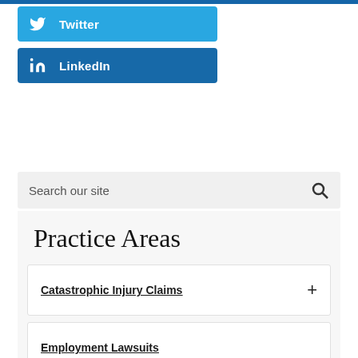[Figure (other): Twitter social share button — light blue button with Twitter bird icon and bold white text 'Twitter']
[Figure (other): LinkedIn social share button — dark blue button with 'in' icon and bold white text 'LinkedIn']
Search our site
Practice Areas
Catastrophic Injury Claims
Employment Lawsuits
Motor Vehicle Accidents